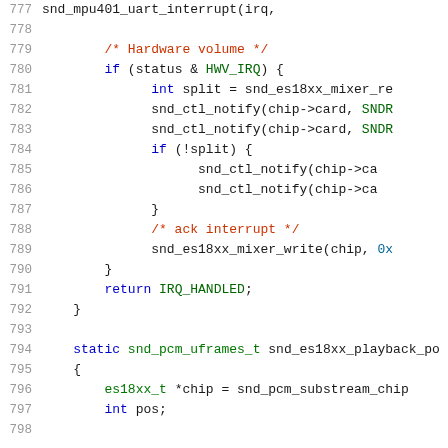Source code fragment showing C code for an interrupt handler function, lines 777-798
777: snd_mpu401_uart_interrupt(irq,
778: (blank)
779: /* Hardware volume */
780: if (status & HWV_IRQ) {
781:     int split = snd_es18xx_mixer_re
782:     snd_ctl_notify(chip->card, SNDR
783:     snd_ctl_notify(chip->card, SNDR
784:     if (!split) {
785:         snd_ctl_notify(chip->ca
786:         snd_ctl_notify(chip->ca
787:     }
788:     /* ack interrupt */
789:     snd_es18xx_mixer_write(chip, 0x
790: }
791:     return IRQ_HANDLED;
792: }
793: (blank)
794: static snd_pcm_uframes_t snd_es18xx_playback_po
795: {
796:     es18xx_t *chip = snd_pcm_substream_chip
797:     int pos;
798: (blank)